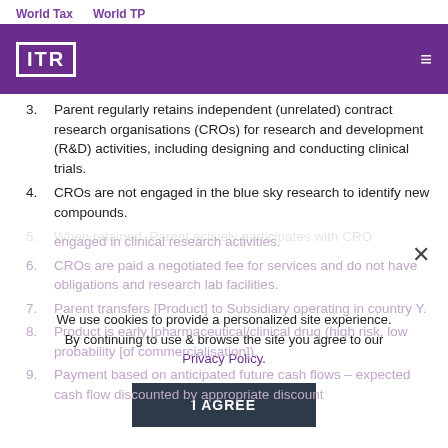World Tax   World TP
3. Parent regularly retains independent (unrelated) contract research organisations (CROs) for research and development (R&D) activities, including designing and conducting clinical trials.
4. CROs are not engaged in the blue sky research to identify new compounds.
5. When retained, Parent actively participates with CRO engaged in clinical research activities.
6. CROs are paid a negotiated fee for services and do not have obligations and research lab facilities.
7. Parent transfers [Product] to Subsidiary operating in country Y.
8. Product is early [pharmaceutical/clinical drug (high risk, low probability [of commercialisation]).
9. Payment based on anticipated future cash flows – expected cash flow discounted by appropriate discount
We use cookies to provide a personalized site experience. By continuing to use & browse the site you agree to our Privacy Policy.
I AGREE